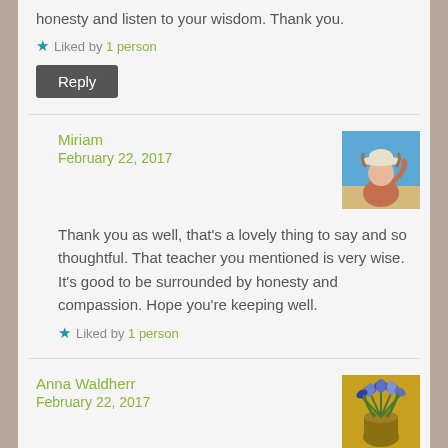honesty and listen to your wisdom. Thank you.
★ Liked by 1 person
Reply
Miriam
February 22, 2017
Thank you as well, that's a lovely thing to say and so thoughtful. That teacher you mentioned is very wise. It's good to be surrounded by honesty and compassion. Hope you're keeping well.
★ Liked by 1 person
Anna Waldherr
February 22, 2017